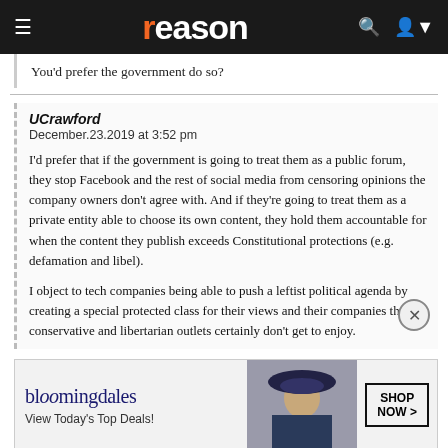reason
You'd prefer the government do so?
UCrawford
December.23.2019 at 3:52 pm

I'd prefer that if the government is going to treat them as a public forum, they stop Facebook and the rest of social media from censoring opinions the company owners don't agree with. And if they're going to treat them as a private entity able to choose its own content, they hold them accountable for when the content they publish exceeds Constitutional protections (e.g. defamation and libel).

I object to tech companies being able to push a leftist political agenda by creating a special protected class for their views and their companies that conservative and libertarian outlets certainly don't get to enjoy.
[Figure (screenshot): Bloomingdale's advertisement: 'View Today's Top Deals!' with SHOP NOW > button and image of woman in hat]
Also, I think it's time to call out the Riech enterprise for being a fraud perpetuated from libertarians. They're taking advantage...